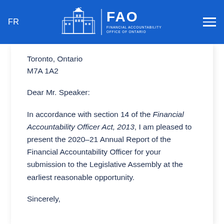FR | FAO Financial Accountability Office of Ontario
Toronto, Ontario
M7A 1A2
Dear Mr. Speaker:
In accordance with section 14 of the Financial Accountability Officer Act, 2013, I am pleased to present the 2020–21 Annual Report of the Financial Accountability Officer for your submission to the Legislative Assembly at the earliest reasonable opportunity.
Sincerely,